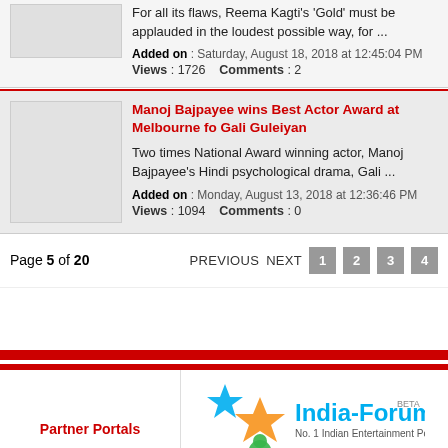For all its flaws, Reema Kagti's 'Gold' must be applauded in the loudest possible way, for ...
Added on : Saturday, August 18, 2018 at 12:45:04 PM
Views : 1726   Comments : 2
Manoj Bajpayee wins Best Actor Award at Melbourne fo Gali Guleiyan
Two times National Award winning actor, Manoj Bajpayee's Hindi psychological drama, Gali ...
Added on : Monday, August 13, 2018 at 12:36:46 PM
Views : 1094   Comments : 0
Page 5 of 20   PREVIOUS   NEXT   1   2   3   4
Partner Portals
[Figure (logo): India-Forums BETA logo with star/character mascot and tagline 'No. 1 Indian Entertainment Portal']